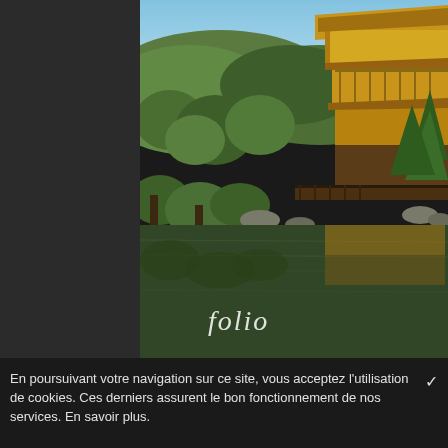[Figure (photo): Photo of Kinkaku-ji (Golden Pavilion) in Kyoto, Japan. A multi-tiered golden pagoda temple surrounded by lush green trees and pine trees, reflected in a calm pond. The building has golden walls and traditional Japanese tiled roofs. The scene shows blue sky, green forested hills in the background, and a dark wooden lower level near the water. The word 'folio' appears in white italic serif font in the lower-left area of the image over the water reflection.]
En poursuivant votre navigation sur ce site, vous acceptez l'utilisation de cookies. Ces derniers assurent le bon fonctionnement de nos services. En savoir plus.